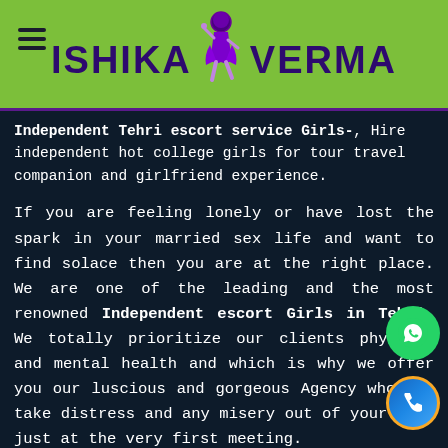ISHIKA VERMA
Independent Tehri escort service Girls-, Hire independent hot college girls for tour travel companion and girlfriend experience.
If you are feeling lonely or have lost the spark in your married sex life and want to find solace then you are at the right place. We are one of the leading and the most renowned Independent escort Girls in Tehri. We totally prioritize our clients physical and mental health and which is why we offer you our luscious and gorgeous Agency who can take distress and any misery out of your soul just at the very first meeting.